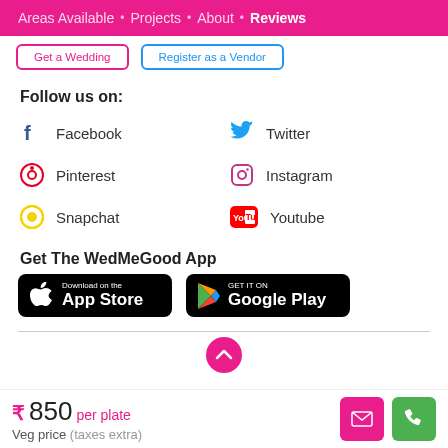Areas Available • Projects • About • Reviews
Get The WedMeGood App
Follow us on:
Facebook
Twitter
Pinterest
Instagram
Snapchat
Youtube
[Figure (screenshot): Download on the App Store and Get it on Google Play badges]
₹ 850 per plate Veg price (taxes extra)